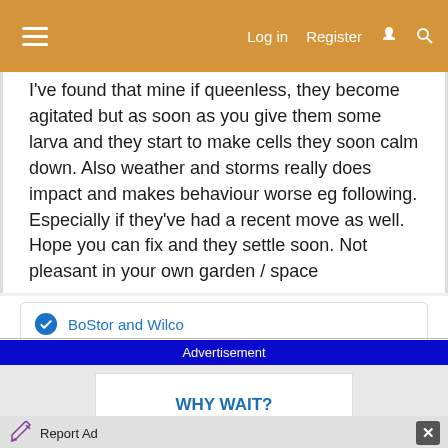Log in   Register
I've found that mine if queenless, they become agitated but as soon as you give them some larva and they start to make cells they soon calm down. Also weather and storms really does impact and makes behaviour worse eg following. Especially if they've had a recent move as well.
Hope you can fix and they settle soon. Not pleasant in your own garden / space
BoStor and Wilco
Advertisement
WHY WAIT?
Report Ad
Download Helbiz and ride